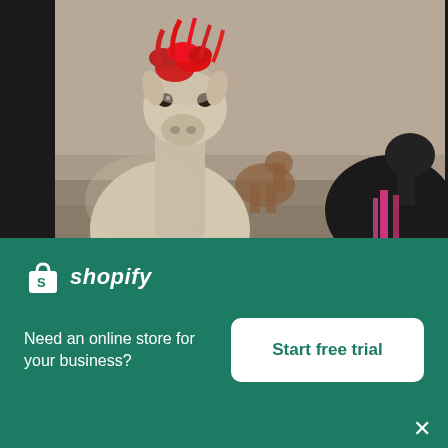[Figure (photo): Two llamas in Peru, one with red dyed fur in foreground facing camera, one with black fur and pink decorations facing away, with a brown llama in background. Photograph taken outdoors in a natural setting.]
Llamas In Peru
High resolution download ↓
[Figure (photo): Partially visible second photo below the download button, showing a light grey/blue sky area.]
[Figure (logo): Shopify logo - white shopping bag icon with S, followed by italic text 'shopify' in white]
Need an online store for your business?
Start free trial